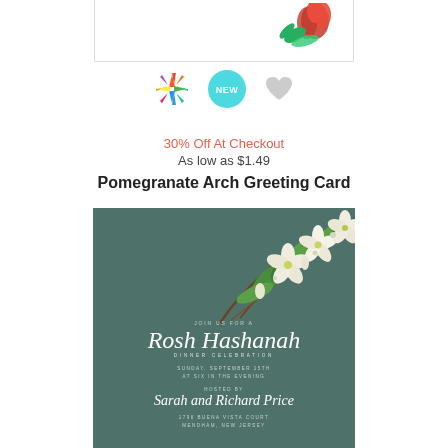[Figure (illustration): Top portion of a greeting card showing a red pomegranate flower on white background with gray border]
[Figure (infographic): Row of icons: colorful pinwheel/asterisk logo, teal NEW badge, gray heart icon]
30% Off At Checkout
As low as $1.49
Pomegranate Arch Greeting Card
[Figure (illustration): Greeting card preview with teal/dark green background, white cherry blossoms and green leaves in top right corner, text reading: JOIN US FOR A / Rosh Hashanah / DINNER CELEBRATION / SUNDAY, SEPTEMBER 15TH / AT SIX IN THE EVENING / HOSTED BY / Sarah and Richard Price / 1796 BUENA VISTA COURT / MENDHAM, NEW JERSEY]